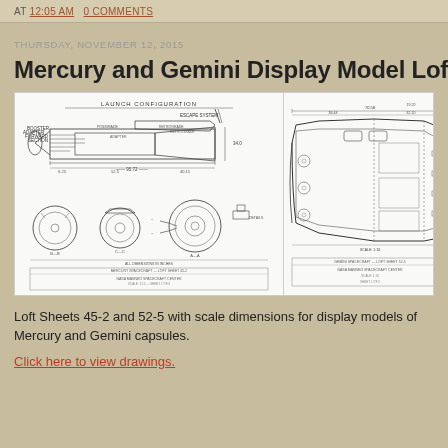AT 12:05 AM   0 COMMENTS
THURSDAY, NOVEMBER 12, 2015
Mercury and Gemini Display Model Loft
[Figure (engineering-diagram): Engineering loft sheet showing Mercury capsule launch configuration with cross-sectional views and dimensions, including booster, adapter, escape system details and circular cross-section views]
[Figure (engineering-diagram): Engineering loft sheet showing Gemini capsule cross-sectional side view with internal components and dimensions]
Loft Sheets 45-2 and 52-5 with scale dimensions for display models of Mercury and Gemini capsules.
Click here to view drawings.